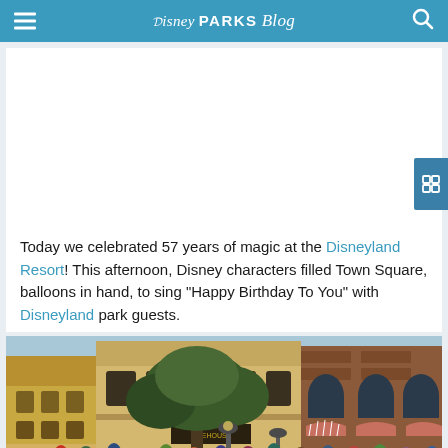Disney Parks Blog
Today we celebrated 57 years of magic at the Disneyland Resort! This afternoon, Disney characters filled Town Square, balloons in hand, to sing “Happy Birthday To You” with Disneyland park guests.
[Figure (photo): Crowd of park guests gathered in Disneyland Town Square with large trees and historic Main Street U.S.A. buildings including brick storefronts with striped awnings and Victorian-style architecture visible in the background.]